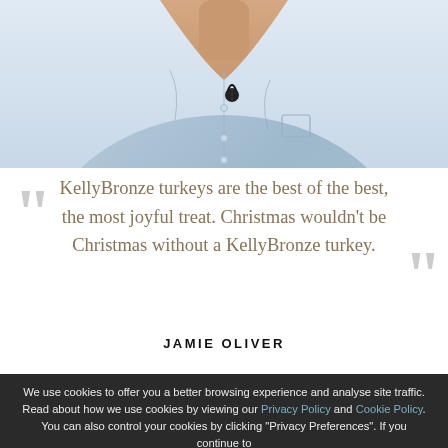[Figure (photo): Photo of a man in a blue shirt with a microphone clip, cropped at chest level showing neck and chest area]
KellyBronze turkeys are the best of the best, the most joyful treat. Christmas wouldn't be Christmas without a KellyBronze turkey.
JAMIE OLIVER
We use cookies to offer you a better browsing experience and analyse site traffic. Read about how we use cookies by viewing our Privacy Policy and Cookie Policy. You can also control your cookies by clicking "Privacy Preferences". If you continue to